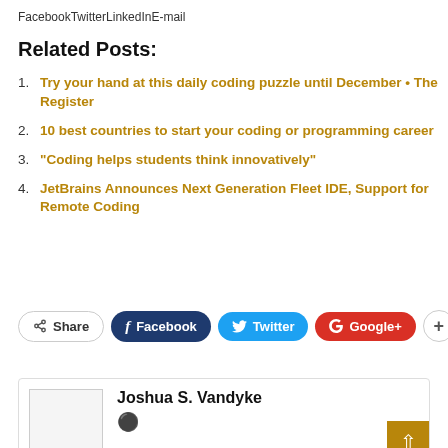FacebookTwitterLinkedInE-mail
Related Posts:
Try your hand at this daily coding puzzle until December • The Register
10 best countries to start your coding or programming career
“Coding helps students think innovatively”
JetBrains Announces Next Generation Fleet IDE, Support for Remote Coding
[Figure (other): Social share buttons row: Share, Facebook, Twitter, Google+, and a plus button]
Joshua S. Vandyke